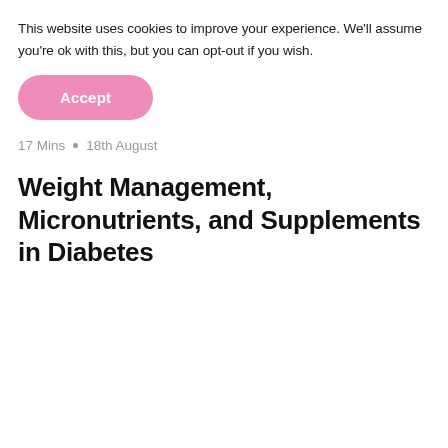This website uses cookies to improve your experience. We'll assume you're ok with this, but you can opt-out if you wish.
[Figure (other): Pink rounded Accept button]
17 Mins • 18th August
Weight Management, Micronutrients, and Supplements in Diabetes